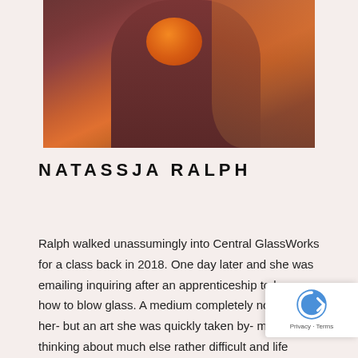[Figure (photo): A person in a dark maroon/burgundy sweater holding an orange glass object, with warm bokeh background]
NATASSJA RALPH
Ralph walked unassumingly into Central GlassWorks for a class back in 2018. One day later and she was emailing inquiring after an apprenticeship to learn how to blow glass. A medium completely novel to her- but an art she was quickly taken by- made thinking about much else rather difficult and life without it unimaginable. Ralph often describes working with glass as "something magical"- no matter one's understanding of the material itself, the very nature of glass is to surprise. It's that sense of wonderm that she hopes to never lose in her journey as an artist, and looks forward to sharing those moments